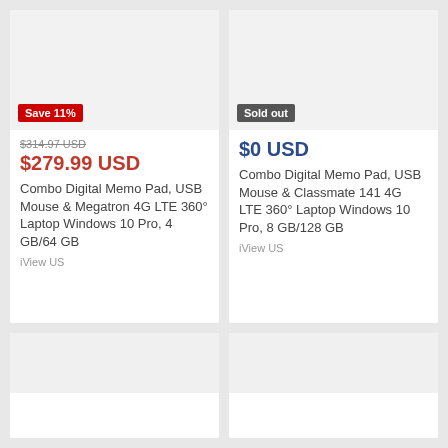[Figure (photo): Product image placeholder, light gray background with Save 11% red badge]
$314.97 USD (strikethrough)
$279.99 USD
Combo Digital Memo Pad, USB Mouse & Megatron 4G LTE 360° Laptop Windows 10 Pro, 4 GB/64 GB
iView US
[Figure (photo): Product image placeholder, light gray background with Sold out gray badge]
$0 USD
Combo Digital Memo Pad, USB Mouse & Classmate 141 4G LTE 360° Laptop Windows 10 Pro, 8 GB/128 GB
iView US
[Figure (photo): Product image placeholder, light gray background, bottom left card]
[Figure (photo): Product image placeholder, light gray background, bottom right card]